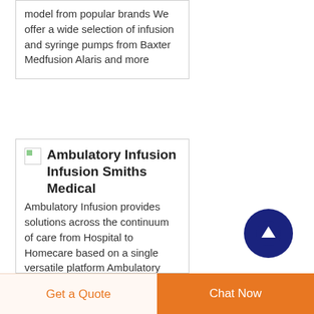model from popular brands We offer a wide selection of infusion and syringe pumps from Baxter Medfusion Alaris and more
[Figure (other): Small product thumbnail image placeholder (broken image icon) in top-left of second card]
Ambulatory Infusion Infusion Smiths Medical
Ambulatory Infusion provides solutions across the continuum of care from Hospital to Homecare based on a single versatile platform Ambulatory Infusion View 9 View 30 View 60 View 90 View
[Figure (other): Dark navy blue circular scroll-to-top button with white upward arrow icon]
Get a Quote
Chat Now